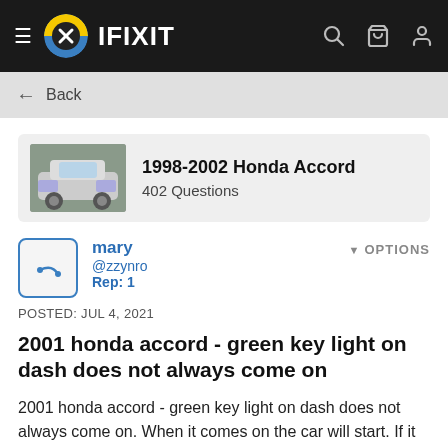IFIXIT
← Back
1998-2002 Honda Accord
402 Questions
mary @zzynro Rep: 1 OPTIONS POSTED: JUL 4, 2021
2001 honda accord - green key light on dash does not always come on
2001 honda accord - green key light on dash does not always come on. When it comes on the car will start. If it